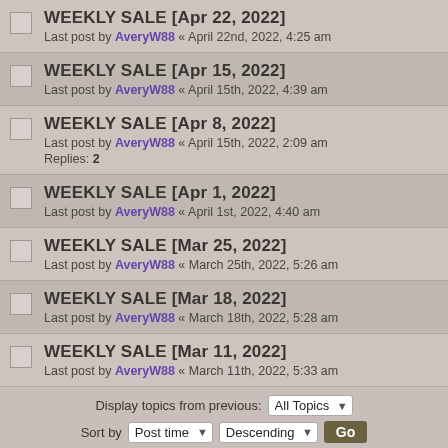WEEKLY SALE [Apr 22, 2022] — Last post by AveryW88 « April 22nd, 2022, 4:25 am
WEEKLY SALE [Apr 15, 2022] — Last post by AveryW88 « April 15th, 2022, 4:39 am
WEEKLY SALE [Apr 8, 2022] — Last post by AveryW88 « April 15th, 2022, 2:09 am — Replies: 2
WEEKLY SALE [Apr 1, 2022] — Last post by AveryW88 « April 1st, 2022, 4:40 am
WEEKLY SALE [Mar 25, 2022] — Last post by AveryW88 « March 25th, 2022, 5:26 am
WEEKLY SALE [Mar 18, 2022] — Last post by AveryW88 « March 18th, 2022, 5:28 am
WEEKLY SALE [Mar 11, 2022] — Last post by AveryW88 « March 11th, 2022, 5:33 am
Display topics from previous: All Topics | Sort by: Post time | Descending | Go